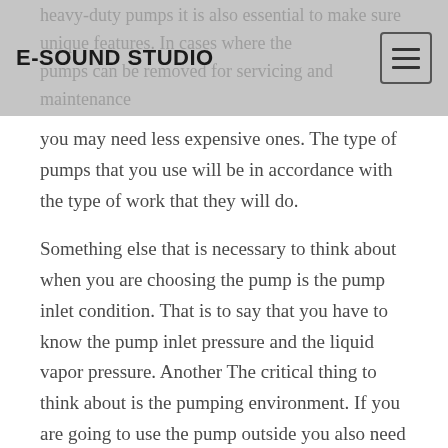E-SOUND STUDIO
you may need less expensive ones. The type of pumps that you use will be in accordance with the type of work that they will do.
Something else that is necessary to think about when you are choosing the pump is the pump inlet condition. That is to say that you have to know the pump inlet pressure and the liquid vapor pressure. Another The critical thing to think about is the pumping environment. If you are going to use the pump outside you also need special construction or installation considerations made for freezing the temperatures.. If you fail to make such arrangements, then your pump may be inspired by the savior